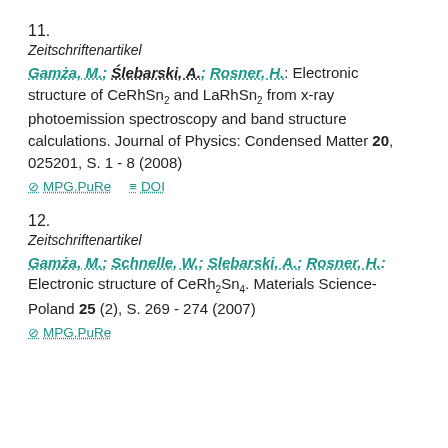11.
Zeitschriftenartikel
Gamża, M.; Ślebarski, A.; Rosner, H.: Electronic structure of CeRhSn2 and LaRhSn2 from x-ray photoemission spectroscopy and band structure calculations. Journal of Physics: Condensed Matter 20, 025201, S. 1 - 8 (2008)
MPG.PuRe   DOI
12.
Zeitschriftenartikel
Gamża, M.; Schnelle, W.; Slebarski, A.; Rosner, H.: Electronic structure of CeRh2Sn4. Materials Science-Poland 25 (2), S. 269 - 274 (2007)
MPG.PuRe